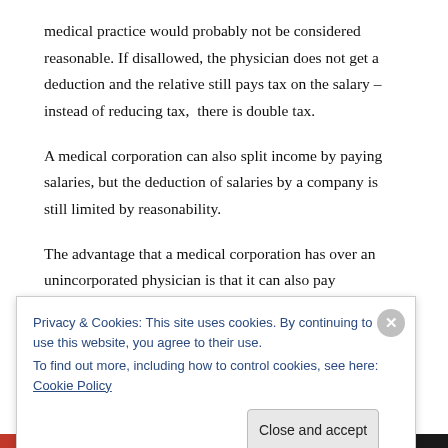medical practice would probably not be considered reasonable. If disallowed, the physician does not get a deduction and the relative still pays tax on the salary – instead of reducing tax,  there is double tax.
A medical corporation can also split income by paying salaries, but the deduction of salaries by a company is still limited by reasonability.
The advantage that a medical corporation has over an unincorporated physician is that it can also pay
Privacy & Cookies: This site uses cookies. By continuing to use this website, you agree to their use.
To find out more, including how to control cookies, see here: Cookie Policy